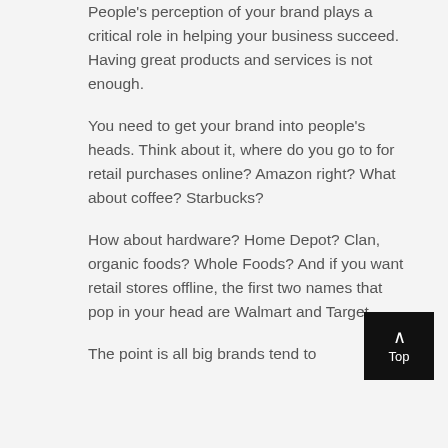People's perception of your brand plays a critical role in helping your business succeed. Having great products and services is not enough.
You need to get your brand into people's heads. Think about it, where do you go to for retail purchases online? Amazon right? What about coffee? Starbucks?
How about hardware? Home Depot? Clan, organic foods? Whole Foods? And if you want retail stores offline, the first two names that pop in your head are Walmart and Target.
The point is all big brands tend to